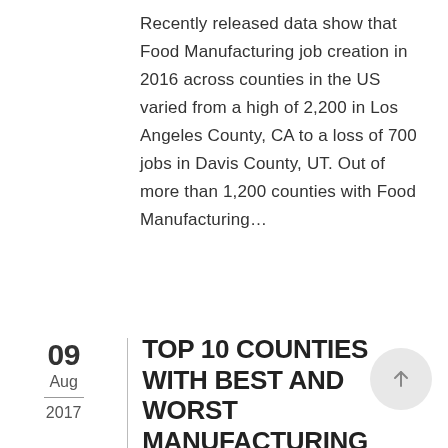Recently released data show that Food Manufacturing job creation in 2016 across counties in the US varied from a high of 2,200 in Los Angeles County, CA to a loss of 700 jobs in Davis County, UT. Out of more than 1,200 counties with Food Manufacturing...
09 Aug 2017
TOP 10 COUNTIES WITH BEST AND WORST MANUFACTURING